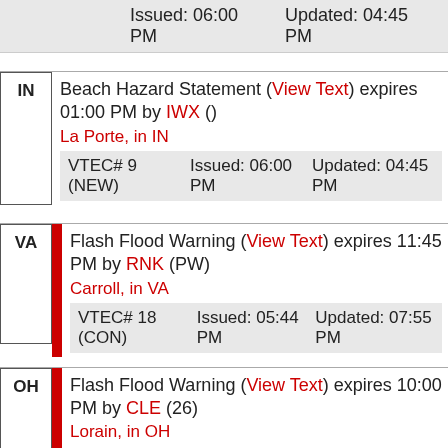| VTEC# 9 (NEW) | Issued: 06:00 PM | Updated: 04:45 PM |
| --- | --- | --- |
IN | Beach Hazard Statement (View Text) expires 01:00 PM by IWX ()
La Porte, in IN
VTEC# 9 (NEW) | Issued: 06:00 PM | Updated: 04:45 PM
VA | Flash Flood Warning (View Text) expires 11:45 PM by RNK (PW)
Carroll, in VA
VTEC# 18 (CON) | Issued: 05:44 PM | Updated: 07:55 PM
OH | Flash Flood Warning (View Text) expires 10:00 PM by CLE (26)
Lorain, in OH